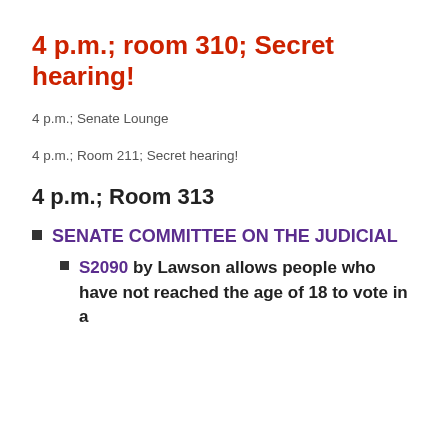4 p.m.; room 310; Secret hearing!
4 p.m.; Senate Lounge
4 p.m.; Room 211; Secret hearing!
4 p.m.; Room 313
SENATE COMMITTEE ON THE JUDICIAL
S2090 by Lawson allows people who have not reached the age of 18 to vote in a